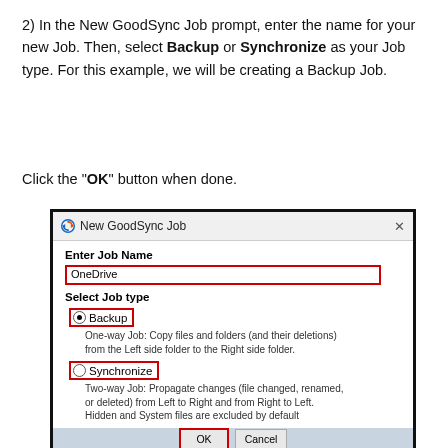2) In the New GoodSync Job prompt, enter the name for your new Job. Then, select Backup or Synchronize as your Job type. For this example, we will be creating a Backup Job.
Click the "OK" button when done.
[Figure (screenshot): Screenshot of the New GoodSync Job dialog window showing an Enter Job Name field filled with 'OneDrive', and two job type radio buttons: Backup (selected, highlighted with red border) and Synchronize. Backup is described as a one-way job and Synchronize as a two-way job. The dialog has a title bar with GoodSync logo and a close button.]